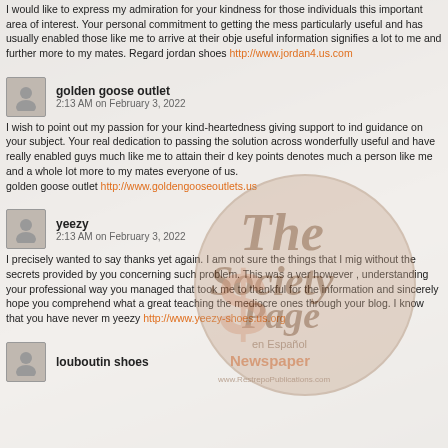I would like to express my admiration for your kindness for those individuals this important area of interest. Your personal commitment to getting the message particularly useful and has usually enabled those like me to arrive at their objective. useful information signifies a lot to me and further more to my mates. Regards jordan shoes http://www.jordan4.us.com
golden goose outlet
2:13 AM on February 3, 2022
I wish to point out my passion for your kind-heartedness giving support to individuals guidance on your subject. Your real dedication to passing the solution across wonderfully useful and have really enabled guys much like me to attain their dreams. key points denotes much a person like me and a whole lot more to my mates. everyone of us.
golden goose outlet http://www.goldengooseoutlets.us
yeezy
2:13 AM on February 3, 2022
I precisely wanted to say thanks yet again. I am not sure the things that I might without the secrets provided by you concerning such problem. This was a very however , understanding your professional way you managed that took me to thankful for the information and sincerely hope you comprehend what a great teaching the mediocre ones through your blog. I know that you have never m yeezy http://www.yeezy-shoes.us.org
louboutin shoes